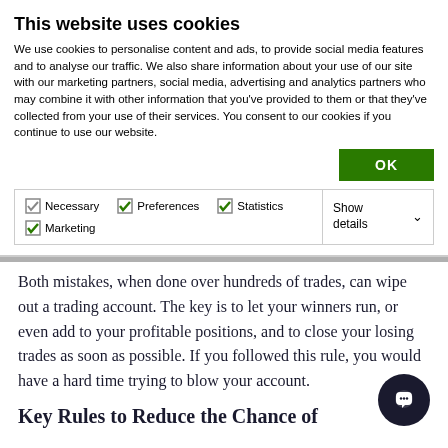This website uses cookies
We use cookies to personalise content and ads, to provide social media features and to analyse our traffic. We also share information about your use of our site with our marketing partners, social media, advertising and analytics partners who may combine it with other information that you've provided to them or that they've collected from your use of their services. You consent to our cookies if you continue to use our website.
| Necessary | Preferences | Statistics | Marketing | Show details |
| --- | --- | --- | --- | --- |
Both mistakes, when done over hundreds of trades, can wipe out a trading account. The key is to let your winners run, or even add to your profitable positions, and to close your losing trades as soon as possible. If you followed this rule, you would have a hard time trying to blow your account.
Key Rules to Reduce the Chance of